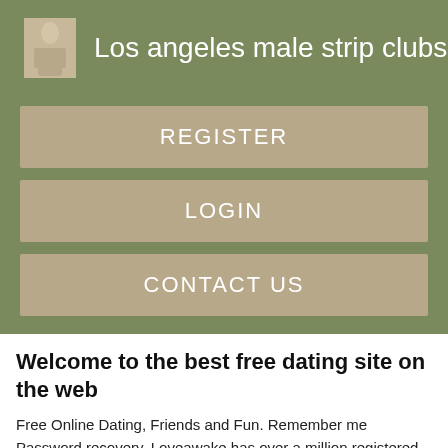Los angeles male strip clubs
REGISTER
LOGIN
CONTACT US
Welcome to the best free dating site on the web
Free Online Dating, Friends and Fun. Remember me Password recovery. Loveawake has over a million registered singles and over new men and women are ing daily. With all these statistics you are almost guaranteed to meet your Los Angeles match. Loveawake founded in has many options bisexual dating sites Los Angeles singles looking for serious relationship. Registration